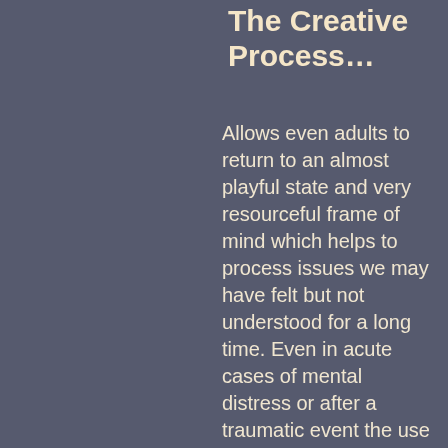The Creative Process…
Allows even adults to return to an almost playful state and very resourceful frame of mind which helps to process issues we may have felt but not understood for a long time. Even in acute cases of mental distress or after a traumatic event the use of art materials allows us to use the safe containment of an image to digest what has happened and make sense of it, instead of keeping it festering in a hidden